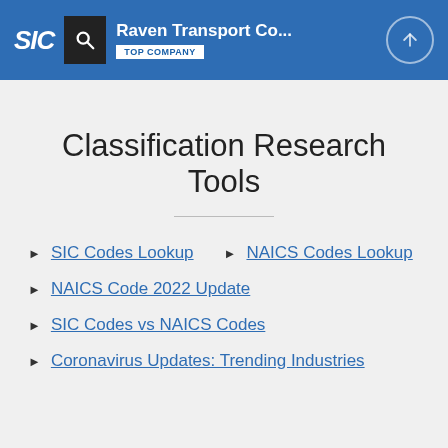SIC | Raven Transport Co... | TOP COMPANY
Classification Research Tools
SIC Codes Lookup
NAICS Codes Lookup
NAICS Code 2022 Update
SIC Codes vs NAICS Codes
Coronavirus Updates: Trending Industries